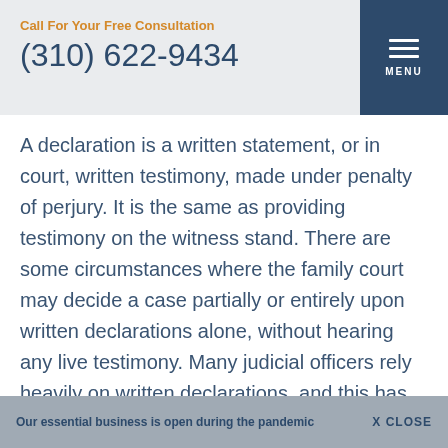Call For Your Free Consultation
(310) 622-9434
A declaration is a written statement, or in court, written testimony, made under penalty of perjury.  It is the same as providing testimony on the witness stand.  There are some circumstances where the family court may decide a case partially or entirely upon written declarations alone, without hearing any live testimony.  Many judicial officers rely heavily on written declarations, and this has increased since the spread of  Covid-19.
Our essential business is open during the pandemic   X CLOSE